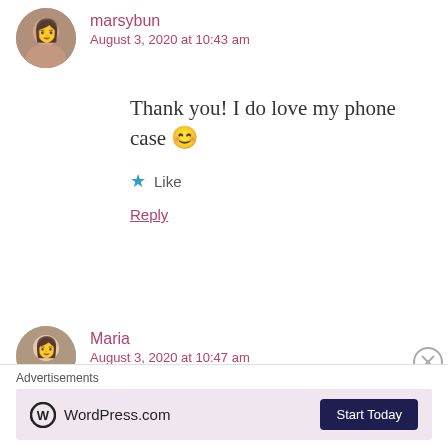marsybun
August 3, 2020 at 10:43 am
Thank you! I do love my phone case 😊
★ Like
Reply
Maria
August 3, 2020 at 10:47 am
First of all, I love your noodle case. The llama
Advertisements
WordPress.com  Start Today